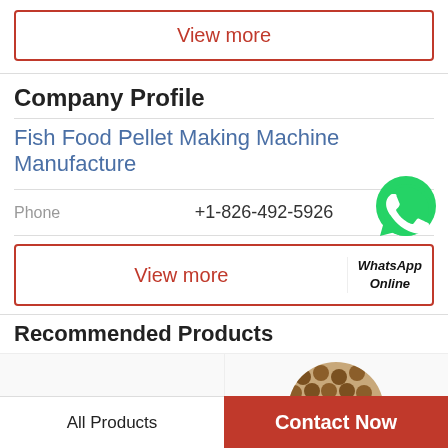View more
Company Profile
Fish Food Pellet Making Machine Manufacture
Phone  +1-826-492-5926
[Figure (logo): WhatsApp green circle icon with phone handset]
View more  WhatsApp Online
Recommended Products
[Figure (photo): Pile of brown fish food pellets of various sizes]
[Figure (photo): Round cluster of brown fish food pellets]
All Products
Contact Now